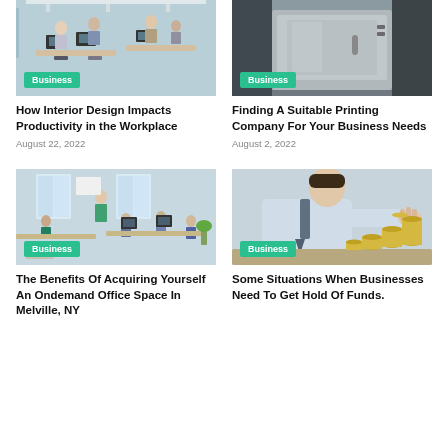[Figure (photo): Office workers at desks with computers, people collaborating in a modern workplace]
[Figure (photo): Printing machine or industrial equipment, metallic surface]
How Interior Design Impacts Productivity in the Workplace
Finding A Suitable Printing Company For Your Business Needs
August 22, 2022
August 2, 2022
[Figure (photo): Team meeting in a modern office, woman presenting to seated colleagues at computers]
[Figure (photo): Man in business suit stacking coins on a table, financial concept]
The Benefits Of Acquiring Yourself An Ondemand Office Space In Melville, NY
Some Situations When Businesses Need To Get Hold Of Funds.